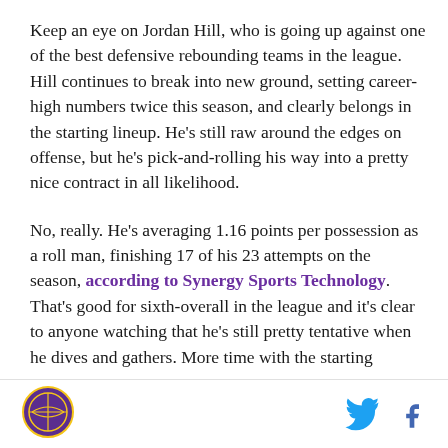Keep an eye on Jordan Hill, who is going up against one of the best defensive rebounding teams in the league. Hill continues to break into new ground, setting career-high numbers twice this season, and clearly belongs in the starting lineup. He's still raw around the edges on offense, but he's pick-and-rolling his way into a pretty nice contract in all likelihood.
No, really. He's averaging 1.16 points per possession as a roll man, finishing 17 of his 23 attempts on the season, according to Synergy Sports Technology. That's good for sixth-overall in the league and it's clear to anyone watching that he's still pretty tentative when he dives and gathers. More time with the starting
[Figure (logo): Circular team logo with purple and gold colors]